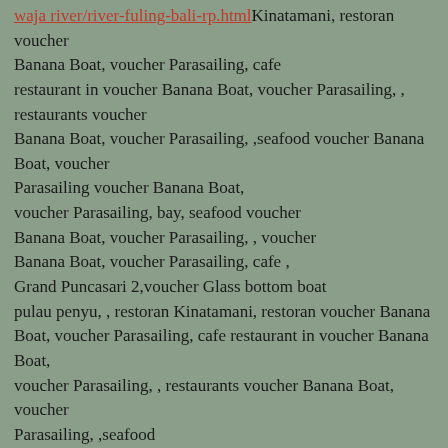waja river/river-fuling-bali-rp.html Kinatamani, restoran voucher Banana Boat, voucher Parasailing,  cafe restaurant in voucher Banana Boat, voucher Parasailing, , restaurants voucher Banana Boat, voucher Parasailing, ,seafood voucher Banana Boat, voucher Parasailing voucher Banana Boat, voucher Parasailing,  bay, seafood voucher Banana Boat, voucher Parasailing, ,  voucher Banana Boat, voucher Parasailing,  cafe , Grand Puncasari 2,voucher Glass bottom boat pulau penyu, , restoran Kinatamani, restoran  voucher Banana Boat, voucher Parasailing,  cafe restaurant in voucher Banana Boat, voucher Parasailing, , restaurants voucher Banana Boat, voucher Parasailing, ,seafood voucher Banana Boat, voucher Parasailing,  bay, restaurant voucher Banana Boat, voucher Parasailing,  bay, seafood at voucher Banana Boat, voucher Parasailing,  bay, seafood voucher Banana Boat, voucher Parasailing, , tempat makan enak di restoran  voucher Banana Boat, voucher Parasailing,  cafe 1, Grand Puncasari 2,voucher Glass bottom boat, pulau penyu, , restoran Kinatamani